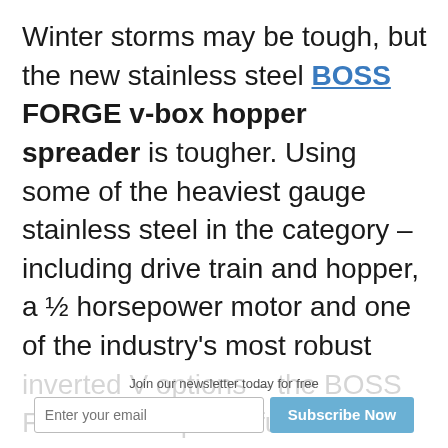Winter storms may be tough, but the new stainless steel BOSS FORGE v-box hopper spreader is tougher. Using some of the heaviest gauge stainless steel in the category – including drive train and hopper, a ½ horsepower motor and one of the industry's most robust inverted V options – the BOSS FORGE is a powerful new tool for snow and ice contractors to use when winter weather strikes.
Join our newsletter today for free